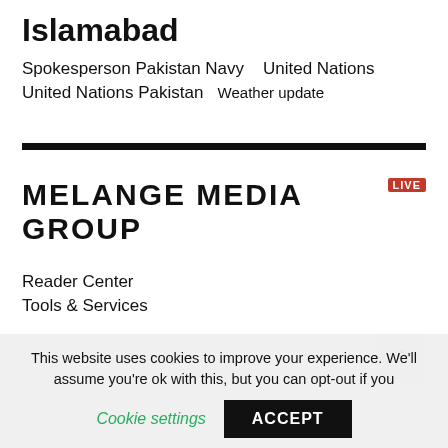Islamabad
Spokesperson Pakistan Navy   United Nations
United Nations Pakistan   Weather update
[Figure (logo): Melange Media Group LIVE logo — bold black uppercase text with a red LIVE badge]
Reader Center
Tools & Services
This website uses cookies to improve your experience. We'll assume you're ok with this, but you can opt-out if you wish.
Cookie settings   ACCEPT